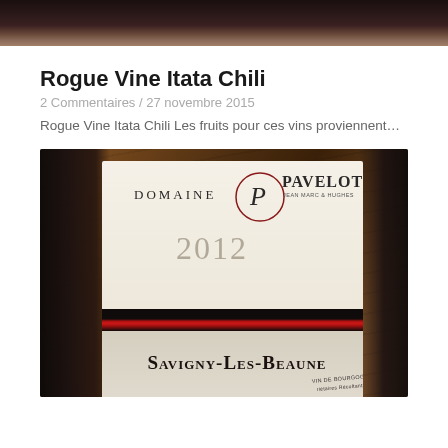[Figure (photo): Top portion of a wine bottle photo, cropped at the top of the page showing dark bottle and label bottom edge]
Rogue Vine Itata Chili
2 Commentaires / 27 novembre 2015
Rogue Vine Itata Chili Les fruits pour ces vins proviennent...
[Figure (photo): Photo of a wine bottle label reading: DOMAINE PAVELOT, JEAN MARC & HUGHES, 2012, SAVIGNY-LES-BEAUNE, VIN DE BOURGOGNE, Propriétaires Récoltants]